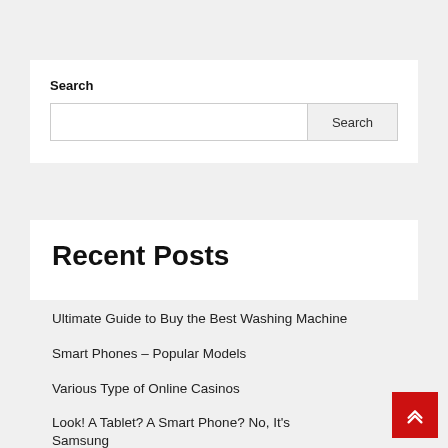Search
Search button
Recent Posts
Ultimate Guide to Buy the Best Washing Machine
Smart Phones – Popular Models
Various Type of Online Casinos
Look! A Tablet? A Smart Phone? No, It's Samsung